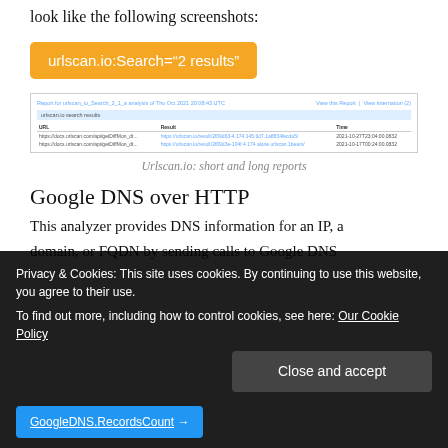look like the following screenshots:
[Figure (screenshot): Orange button showing urlscan.io:Search="2 results"]
[Figure (screenshot): urlscan.io search results table showing URL, Result, and Time columns with two rows of data]
Urlscan.io: short and long reports
Google DNS over HTTP
This analyzer provides DNS information for an IP, a domain, or FQDN by sending calls to Google DNS...
[Figure (screenshot): Cookie consent bar with text and Close and accept button, and a blue GoogleDNS.RecordsCount button at bottom]